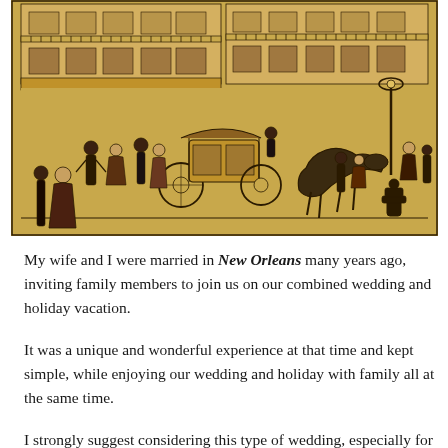[Figure (illustration): Black ink illustration on a golden/tan background showing a New Orleans French Quarter street scene. Features multi-story buildings with wrought iron balconies, horse-drawn carriages, street lamps, a fire hydrant, and numerous people in period dress on the street.]
My wife and I were married in New Orleans many years ago, inviting family members to join us on our combined wedding and holiday vacation.
It was a unique and wonderful experience at that time and kept simple, while enjoying our wedding and holiday with family all at the same time.
I strongly suggest considering this type of wedding, especially for